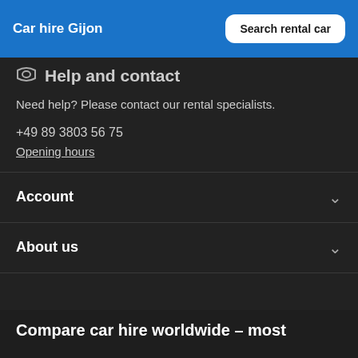Car hire Gijon
Help and contact
Need help? Please contact our rental specialists.
+49 89 3803 56 75
Opening hours
Account
About us
Compare car hire worldwide – most